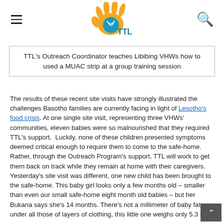TTL logo with hand icon, menu and search icons
TTL's Outreach Coordinator teaches Libibing VHWs how to used a MUAC strip at a group training session
The results of these recent site visits have strongly illustrated the challenges Basotho families are currently facing in light of Lesotho's food crisis. At one single site visit, representing three VHWs' communities, eleven babies were so malnourished that they required TTL's support. Luckily, none of these children presented symptoms deemed critical enough to require them to come to the safe-home. Rather, through the Outreach Program's support, TTL will work to get them back on track while they remain at home with their caregivers. Yesterday's site visit was different, one new child has been brought to the safe-home. This baby girl looks only a few months old – smaller than even our small safe-home eight month old babies – but her Bukana says she's 14 months. There's not a millimeter of baby fat under all those of layers of clothing, this little one weighs only 5.3 kg.